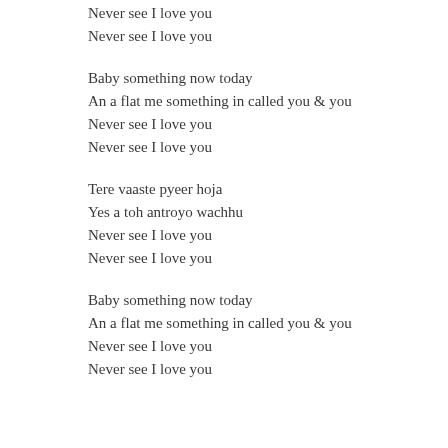Never see I love you
Never see I love you
Baby something now today
An a flat me something in called you & you
Never see I love you
Never see I love you
Tere vaaste pyeer hoja
Yes a toh antroyo wachhu
Never see I love you
Never see I love you
Baby something now today
An a flat me something in called you & you
Never see I love you
Never see I love you